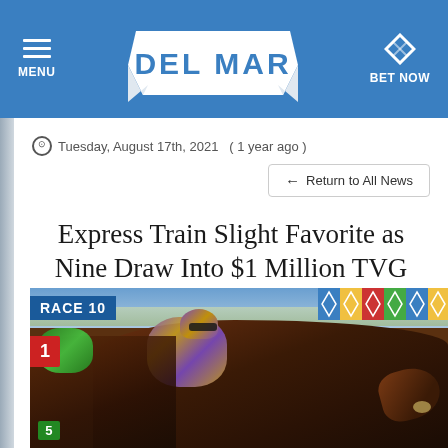MENU  DEL MAR  BET NOW
Tuesday, August 17th, 2021  ( 1 year ago )
← Return to All News
Express Train Slight Favorite as Nine Draw Into $1 Million TVG Pacific Classic
[Figure (photo): A jockey in purple and yellow silks rides a dark bay thoroughbred horse at full gallop during a race at Del Mar racetrack, with a second horse and jockey visible alongside wearing green silks with number 5.]